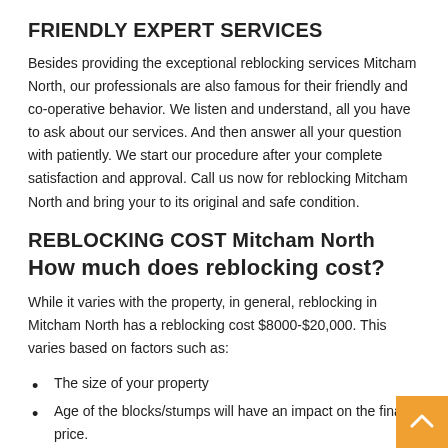FRIENDLY EXPERT SERVICES
Besides providing the exceptional reblocking services Mitcham North, our professionals are also famous for their friendly and co-operative behavior. We listen and understand, all you have to ask about our services. And then answer all your question with patiently. We start our procedure after your complete satisfaction and approval. Call us now for reblocking Mitcham North and bring your to its original and safe condition.
REBLOCKING COST Mitcham North
How much does reblocking cost?
While it varies with the property, in general, reblocking in Mitcham North has a reblocking cost $8000-$20,000. This varies based on factors such as:
The size of your property
Age of the blocks/stumps will have an impact on the final price.
Soil conditions